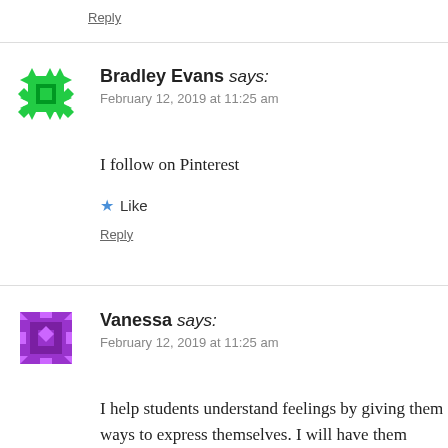Reply
Bradley Evans says:
February 12, 2019 at 11:25 am
I follow on Pinterest
Like
Reply
Vanessa says:
February 12, 2019 at 11:25 am
I help students understand feelings by giving them ways to express themselves. I will have them dance, wiggle, etc. I also try to discuss empathy and have them put themselves in others shoes.